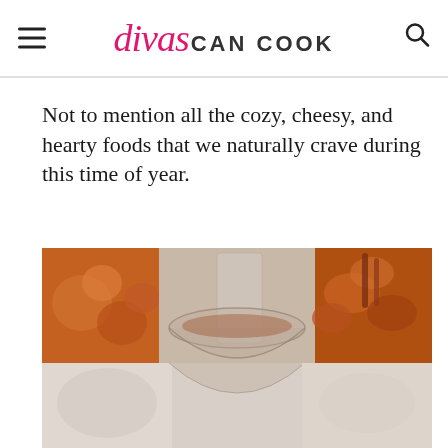divas CAN COOK
Not to mention all the cozy, cheesy, and hearty foods that we naturally crave during this time of year.
[Figure (photo): Photo collage showing food items including what appears to be a bowl of soup or dip, orange/fall-colored foods on the left, chips or crackers on the right, and lighter colored foods on the bottom row.]